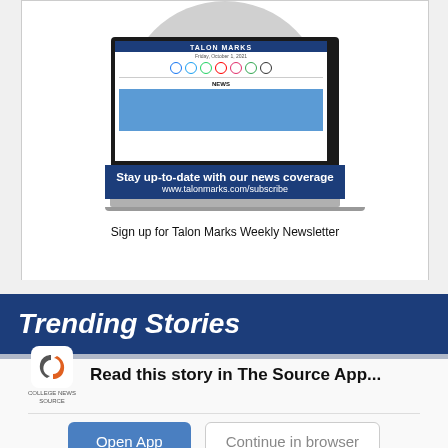[Figure (illustration): Laptop mockup showing Talon Marks website with 'Stay up-to-date with our news coverage' blue banner overlay and URL www.talonmarks.com/subscribe. Screenshot of the Talon Marks website interface is shown on the laptop screen.]
Sign up for Talon Marks Weekly Newsletter
Trending Stories
[Figure (logo): College News Source logo with stylized orange S icon and text 'COLLEGE NEWS SOURCE']
Read this story in The Source App...
Open App   Continue in browser